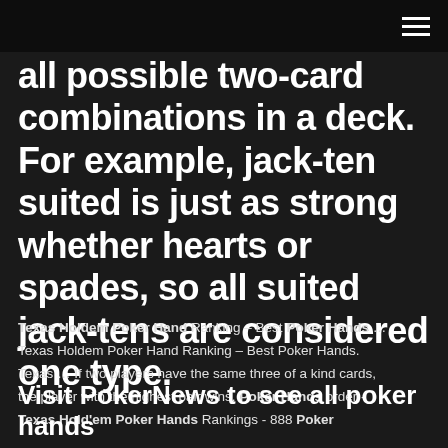all possible two-card combinations in a deck. For example, jack-ten suited is just as strong whether hearts or spades, so all suited jack-tens are considered one type.
Texas Holdem Poker Hand Ranking – Best Poker Hands ... Texas Holdem Poker Hand Ranking – Best Poker Hands. Texas ... If two players have the same three of a kind cards, the player with the highest pair wins. Poker Hands order - Texas Hold'em Poker Hands Rankings - 888 Poker
Visit PokerNews to see all poker hands